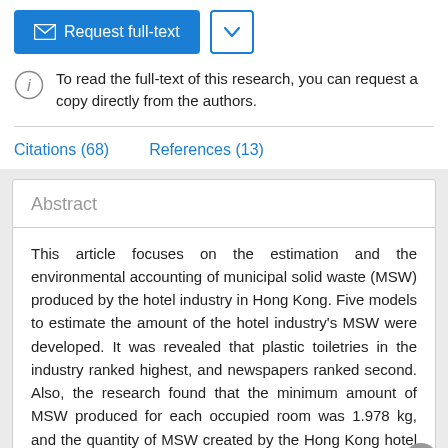[Figure (other): Request full-text button (blue) with envelope icon and dropdown arrow button]
To read the full-text of this research, you can request a copy directly from the authors.
Citations (68)    References (13)
Abstract
This article focuses on the estimation and the environmental accounting of municipal solid waste (MSW) produced by the hotel industry in Hong Kong. Five models to estimate the amount of the hotel industry's MSW were developed. It was revealed that plastic toiletries in the industry ranked highest, and newspapers ranked second. Also, the research found that the minimum amount of MSW produced for each occupied room was 1.978 kg, and the quantity of MSW created by the Hong Kong hotel industry reached at least 53,070 tons in 1996, with